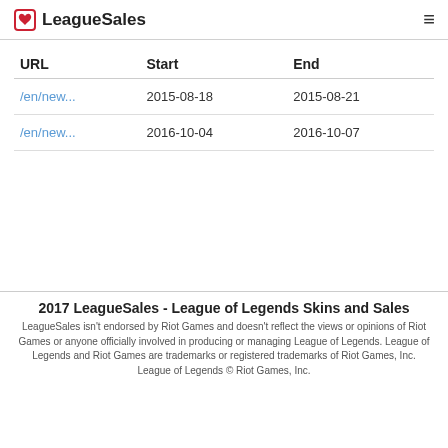LeagueSales
| URL | Start | End |
| --- | --- | --- |
| /en/new... | 2015-08-18 | 2015-08-21 |
| /en/new... | 2016-10-04 | 2016-10-07 |
2017 LeagueSales - League of Legends Skins and Sales
LeagueSales isn't endorsed by Riot Games and doesn't reflect the views or opinions of Riot Games or anyone officially involved in producing or managing League of Legends. League of Legends and Riot Games are trademarks or registered trademarks of Riot Games, Inc. League of Legends © Riot Games, Inc.